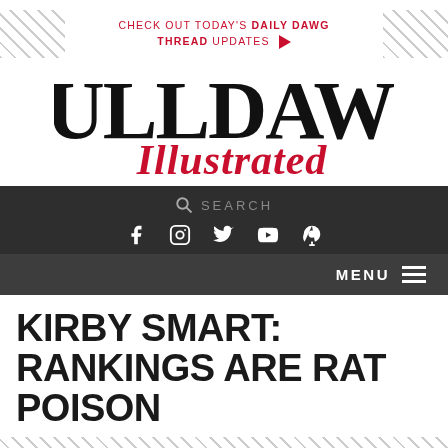CHECK OUT TODAY'S DAILY DAWG THREAD UPDATES
[Figure (logo): Bulldawg Illustrated logo — 'BULLDAWG' in large bold serif black text, 'Illustrated' in red italic script below]
[Figure (screenshot): Navigation bar with search field and social media icons (Facebook, Instagram, Twitter, YouTube, Podcast) on dark background]
[Figure (other): Dark menu bar with MENU label and hamburger icon on right side]
KIRBY SMART: RANKINGS ARE RAT POISON